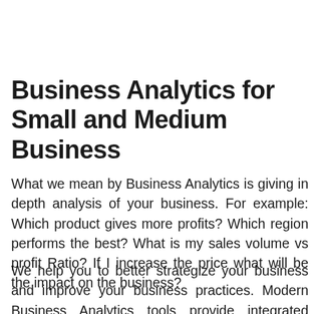Business Analytics for Small and Medium Business
What we mean by Business Analytics is giving in depth analysis of your business. For example: Which product gives more profits? Which region performs the best? What is my sales volume vs profit Ratio? If I increase the price what will be the impact on the business?
We help you to better strategize your business and improve your business practices. Modern Business Analytics tools provide integrated platform for Data collection, Analysis, Risk